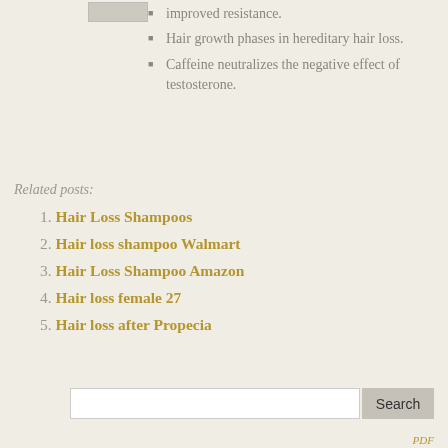[Figure (photo): Small thumbnail image at top left]
improved resistance.
Hair growth phases in hereditary hair loss.
Caffeine neutralizes the negative effect of testosterone.
Related posts:
1. Hair Loss Shampoos
2. Hair loss shampoo Walmart
3. Hair Loss Shampoo Amazon
4. Hair loss female 27
5. Hair loss after Propecia
PDF